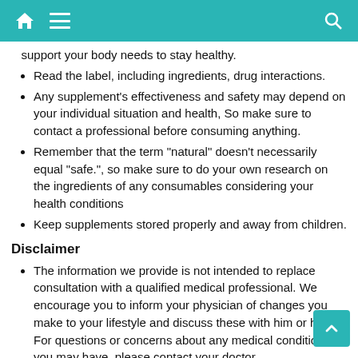[Figure (screenshot): Mobile app top navigation bar with teal background, home icon, hamburger menu icon, and search icon]
support your body needs to stay healthy.
Read the label, including ingredients, drug interactions.
Any supplement's effectiveness and safety may depend on your individual situation and health, So make sure to contact a professional before consuming anything.
Remember that the term "natural" doesn't necessarily equal "safe.", so make sure to do your own research on the ingredients of any consumables considering your health conditions
Keep supplements stored properly and away from children.
Disclaimer
The information we provide is not intended to replace consultation with a qualified medical professional. We encourage you to inform your physician of changes you make to your lifestyle and discuss these with him or her. For questions or concerns about any medical conditions you may have, please contact your doctor.